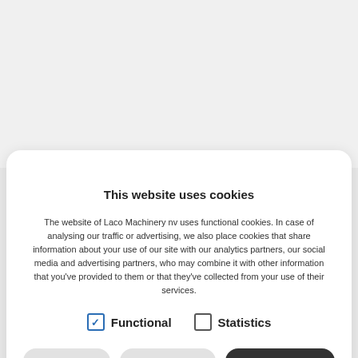This website uses cookies
The website of Laco Machinery nv uses functional cookies. In case of analysing our traffic or advertising, we also place cookies that share information about your use of our site with our analytics partners, our social media and advertising partners, who may combine it with other information that you've provided to them or that they've collected from your use of their services.
Functional   Statistics
Show details   Allow selection   Allow all cookies